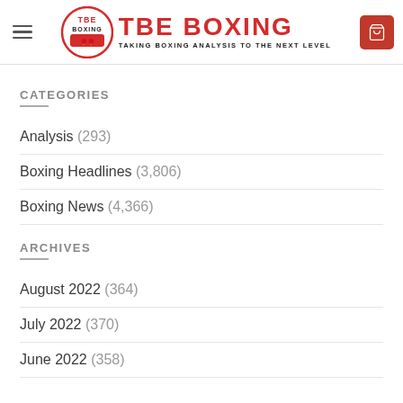TBE BOXING — TAKING BOXING ANALYSIS TO THE NEXT LEVEL
CATEGORIES
Analysis (293)
Boxing Headlines (3,806)
Boxing News (4,366)
ARCHIVES
August 2022 (364)
July 2022 (370)
June 2022 (358)